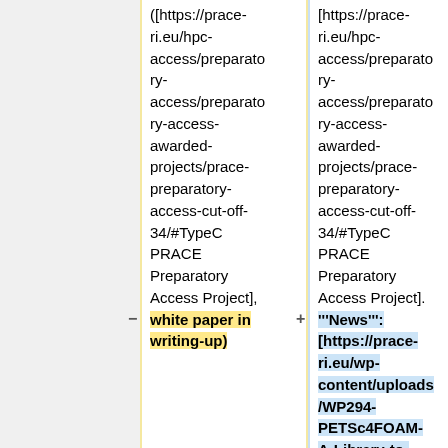([https://prace-ri.eu/hpc-access/preparatory-access/preparatory-access-awarded-projects/prace-preparatory-access-cut-off-34/#TypeC PRACE Preparatory Access Project], white paper in writing-up)
[https://prace-ri.eu/hpc-access/preparatory-access/preparatory-access-awarded-projects/prace-preparatory-access-cut-off-34/#TypeC PRACE Preparatory Access Project]. '''News''': [https://prace-ri.eu/wp-content/uploads/WP294-PETSc4FOAM-A-Library-to-plug-in-PETSc-into-the-